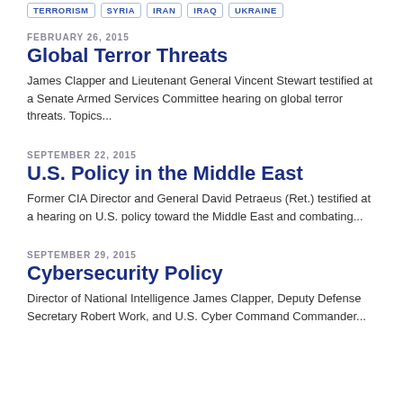TERRORISM | SYRIA | IRAN | IRAQ | UKRAINE
FEBRUARY 26, 2015
Global Terror Threats
James Clapper and Lieutenant General Vincent Stewart testified at a Senate Armed Services Committee hearing on global terror threats. Topics...
SEPTEMBER 22, 2015
U.S. Policy in the Middle East
Former CIA Director and General David Petraeus (Ret.) testified at a hearing on U.S. policy toward the Middle East and combating...
SEPTEMBER 29, 2015
Cybersecurity Policy
Director of National Intelligence James Clapper, Deputy Defense Secretary Robert Work, and U.S. Cyber Command Commander...